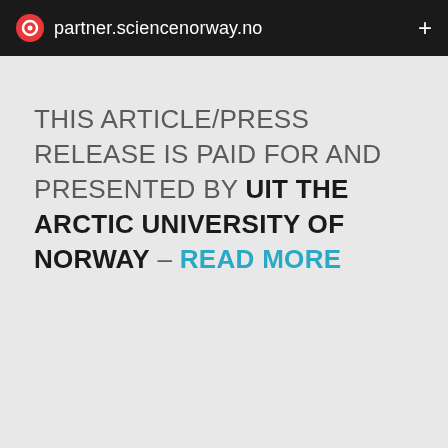partner.sciencenorway.no
THIS ARTICLE/PRESS RELEASE IS PAID FOR AND PRESENTED BY UIT THE ARCTIC UNIVERSITY OF NORWAY – READ MORE